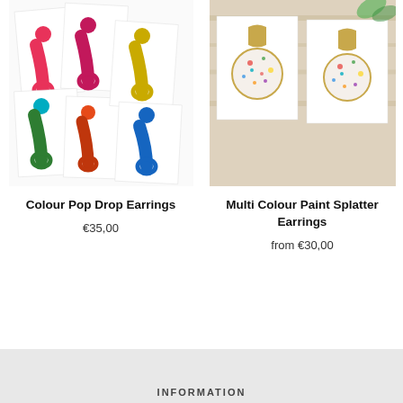[Figure (photo): Photo of Colour Pop Drop Earrings in multiple bright colours (pink, magenta, teal, green, orange, blue, mustard) displayed on white cards on a white surface]
[Figure (photo): Photo of Multi Colour Paint Splatter Earrings - round confetti/splatter style earrings with gold hardware, displayed on white cards on a wood surface with flowers]
Colour Pop Drop Earrings
€35,00
Multi Colour Paint Splatter Earrings
from €30,00
INFORMATION